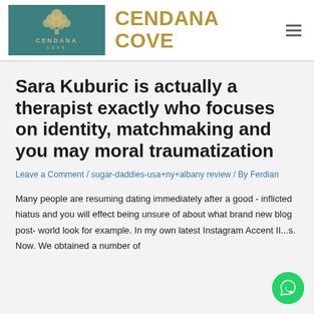CENDANA COVE
Sara Kuburic is actually a therapist exactly who focuses on identity, matchmaking and you may moral traumatization
Leave a Comment / sugar-daddies-usa+ny+albany review / By Ferdian
Many people are resuming dating immediately after a good - inflicted hiatus and you will effect being unsure of about what brand new blog post- world look for example. In my own latest Instagram Accent II...s. Now. We obtained a number of